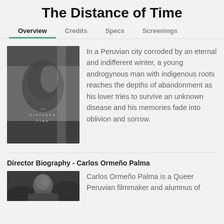The Distance of Time
Overview	Credits	Specs	Screenings
[Figure (photo): Black and white movie poster for 'The Distance of Time' showing a close-up of a man's face in profile with text 'THE DISTANCE OF TIME' overlaid]
In a Peruvian city corroded by an eternal and indifferent winter, a young androgynous man with indigenous roots reaches the depths of abandonment as his lover tries to survive an unknown disease and his memories fade into oblivion and sorrow.
Director Biography - Carlos Ormeño Palma
[Figure (photo): Black and white headshot photo of Carlos Ormeño Palma]
Carlos Ormeño Palma is a Queer Peruvian filmmaker and alumnus of